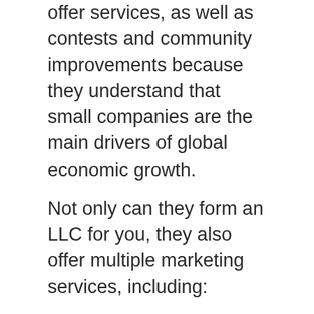offer services, as well as contests and community improvements because they understand that small companies are the main drivers of global economic growth.
Not only can they form an LLC for you, they also offer multiple marketing services, including:
Social media marketing
Social media ads
SEO-related services
Ad management for Search Engines
Web design services
Logo design services
Graphic design services
They also offer solutions and...